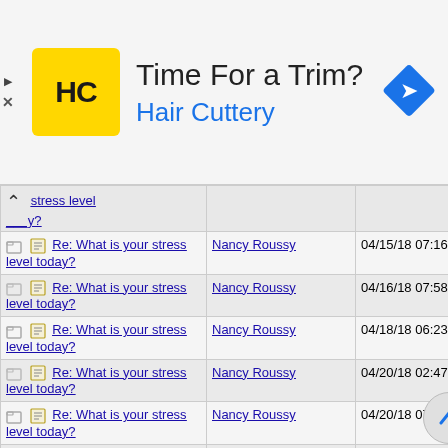[Figure (infographic): Hair Cuttery advertisement banner with logo, tagline 'Time For a Trim?' and brand name 'Hair Cuttery', navigation arrow icon on right]
| Subject | Author | Date |
| --- | --- | --- |
| stress level ___y? |  |  |
| Re: What is your stress level today? | Nancy Roussy | 04/15/18 07:16 PM |
| Re: What is your stress level today? | Nancy Roussy | 04/16/18 07:58 PM |
| Re: What is your stress level today? | Nancy Roussy | 04/18/18 06:23 PM |
| Re: What is your stress level today? | Nancy Roussy | 04/20/18 02:47 AM |
| Re: What is your stress level today? | Nancy Roussy | 04/20/18 07:51 PM |
| Re: What is | Nancy Roussy | 04/21/18 06:51 PM |